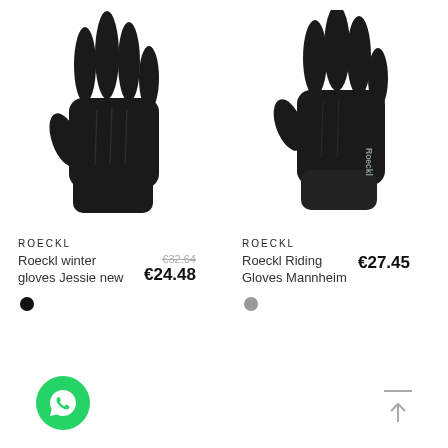[Figure (photo): Black Roeckl winter gloves Jessie new - product photo on white background, left column]
[Figure (photo): Black Roeckl Riding Gloves Mannheim with Roeckl logo visible - product photo on white background, right column]
ROECKL
Roeckl winter gloves Jessie new
€32.64
€24.48
ROECKL
Roeckl Riding Gloves Mannheim
€27.45
[Figure (other): Black color dot for product 1]
[Figure (other): Gray color dot for product 2]
[Figure (other): Green WhatsApp chat button (circular, bottom left)]
[Figure (other): Back to top arrow icon (bottom right)]